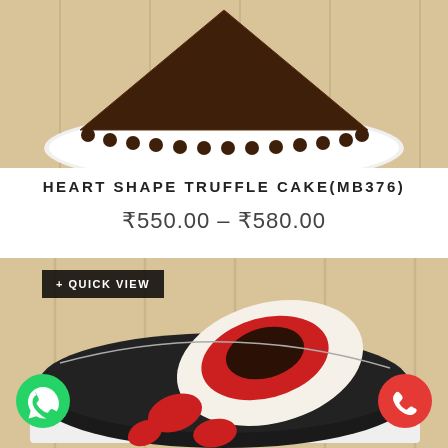[Figure (photo): Close-up photo of a heart-shaped chocolate truffle cake on a white plate against a wooden background, top portion visible]
HEART SHAPE TRUFFLE CAKE(MB376)
₹550.00 – ₹580.00
[Figure (photo): Photo of a round black-frosted cake with decorative heart shapes in white, red and dark chocolate on top, placed on a wooden surface. A '+ QUICK VIEW' button overlay appears in the top left. A green WhatsApp icon and red phone icon appear at the bottom corners.]